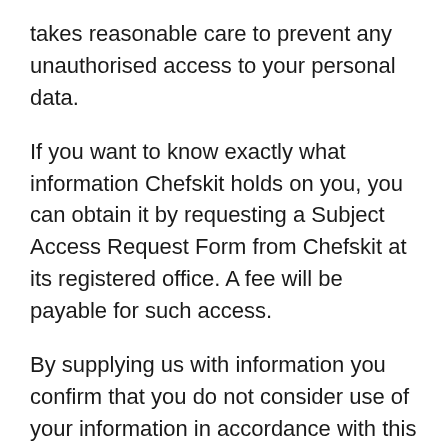takes reasonable care to prevent any unauthorised access to your personal data.
If you want to know exactly what information Chefskit holds on you, you can obtain it by requesting a Subject Access Request Form from Chefskit at its registered office. A fee will be payable for such access.
By supplying us with information you confirm that you do not consider use of your information in accordance with this Privacy Statement to be a breach of any of your rights under the Telecommunications (Data Protection and Privacy) Regulations 1999. By entering information on forms or providing us with any personal information you are consenting to us processing that data for our own